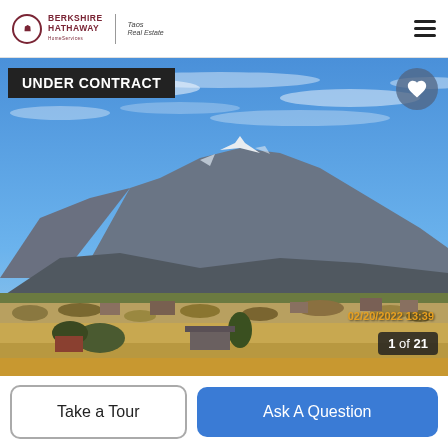Berkshire Hathaway HomeServices | Taos Real Estate
[Figure (photo): Outdoor landscape photo showing mountains with snow-capped peaks under a blue sky with wispy clouds. In the foreground is a rural valley with bare trees, scrubland, and scattered buildings. Timestamp reads 02/20/2022 13:39. Labeled as 1 of 21 photos.]
UNDER CONTRACT
02/20/2022 13:39
1 of 21
Take a Tour
Ask A Question